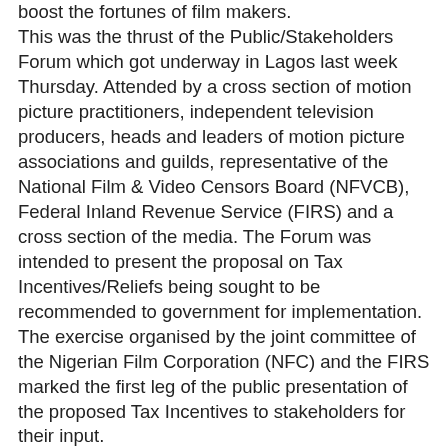boost the fortunes of film makers. This was the thrust of the Public/Stakeholders Forum which got underway in Lagos last week Thursday. Attended by a cross section of motion picture practitioners, independent television producers, heads and leaders of motion picture associations and guilds, representative of the National Film & Video Censors Board (NFVCB), Federal Inland Revenue Service (FIRS) and a cross section of the media. The Forum was intended to present the proposal on Tax Incentives/Reliefs being sought to be recommended to government for implementation. The exercise organised by the joint committee of the Nigerian Film Corporation (NFC) and the FIRS marked the first leg of the public presentation of the proposed Tax Incentives to stakeholders for their input. Speaking at the forum, Afolabi Adesanya, Managing Director/Chief Executive of NFC, said that the proposed Tax Incentives being sought will create a “More vibrant film industry, generate more employment, raise the level of Foreign Direct Investment (FDI) into the sector, and generate more revenue and income.” Boosting the pool of funds, available for the devolopment of